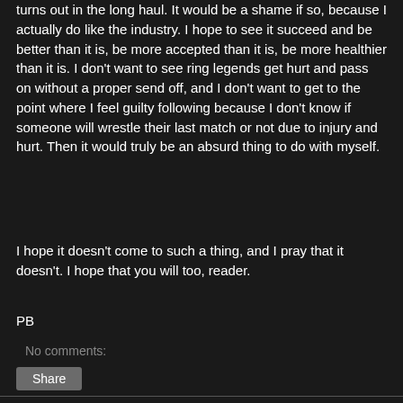turns out in the long haul. It would be a shame if so, because I actually do like the industry. I hope to see it succeed and be better than it is, be more accepted than it is, be more healthier than it is. I don't want to see ring legends get hurt and pass on without a proper send off, and I don't want to get to the point where I feel guilty following because I don't know if someone will wrestle their last match or not due to injury and hurt. Then it would truly be an absurd thing to do with myself.
I hope it doesn't come to such a thing, and I pray that it doesn't. I hope that you will too, reader.
PB
No comments:
WCR Video: RD and Blade watch a